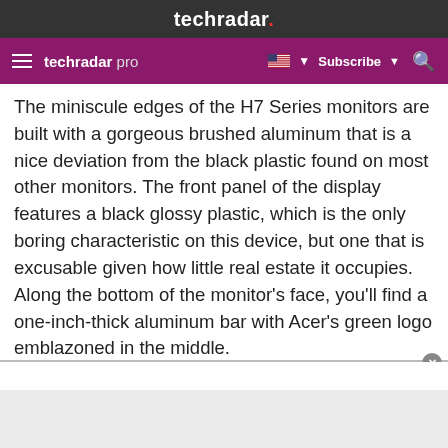techradar.
techradar pro  Subscribe
The miniscule edges of the H7 Series monitors are built with a gorgeous brushed aluminum that is a nice deviation from the black plastic found on most other monitors. The front panel of the display features a black glossy plastic, which is the only boring characteristic on this device, but one that is excusable given how little real estate it occupies. Along the bottom of the monitor's face, you'll find a one-inch-thick aluminum bar with Acer's green logo emblazoned in the middle.